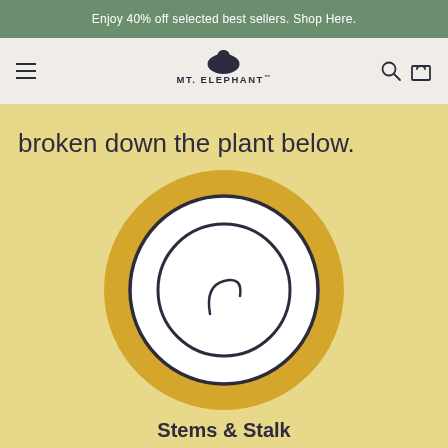Enjoy 40% off selected best sellers. Shop Here.
[Figure (logo): Mt. Elephant brand logo with elephant silhouette above text MT. ELEPHANT]
broken down the plant below.
[Figure (illustration): Yellow circular background with a white circular plate-like illustration in the center, outlined in dark navy, with a small swirl detail inside]
Stems & Stalk